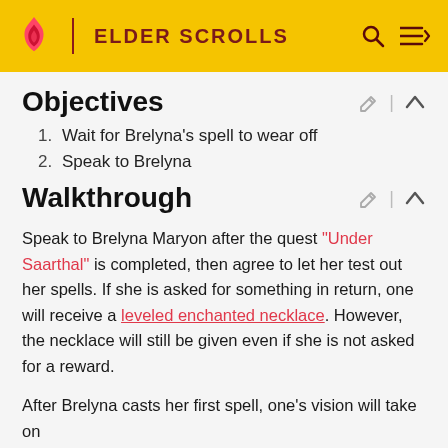ELDER SCROLLS
Objectives
1. Wait for Brelyna's spell to wear off
2. Speak to Brelyna
Walkthrough
Speak to Brelyna Maryon after the quest "Under Saarthal" is completed, then agree to let her test out her spells. If she is asked for something in return, one will receive a leveled enchanted necklace. However, the necklace will still be given even if she is not asked for a reward.
After Brelyna casts her first spell, one's vision will take on